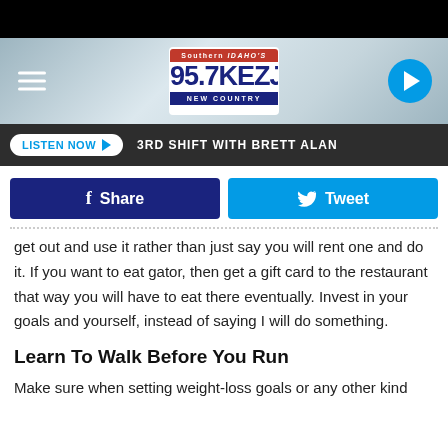[Figure (screenshot): Black top bar]
[Figure (logo): Southern Idaho's 95.7 KEZJ New Country radio station logo with hamburger menu and play button]
LISTEN NOW  3RD SHIFT WITH BRETT ALAN
[Figure (infographic): Share and Tweet social buttons]
get out and use it rather than just say you will rent one and do it. If you want to eat gator, then get a gift card to the restaurant that way you will have to eat there eventually. Invest in your goals and yourself, instead of saying I will do something.
Learn To Walk Before You Run
Make sure when setting weight-loss goals or any other kind